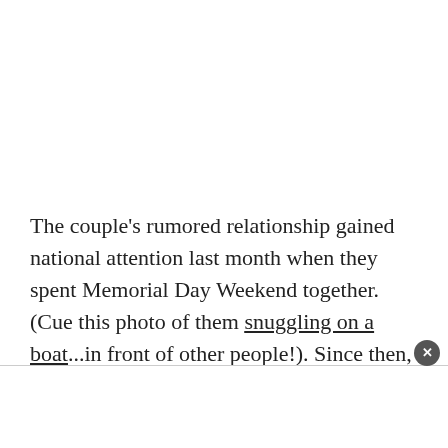The couple's rumored relationship gained national attention last month when they spent Memorial Day Weekend together. (Cue this photo of them snuggling on a boat...in front of other people!). Since then, both Nick and Priyanka have dropped clues that they're more than "just friends," with cute Instagram comments and likes—